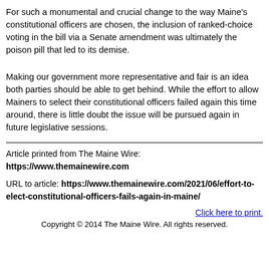For such a monumental and crucial change to the way Maine's constitutional officers are chosen, the inclusion of ranked-choice voting in the bill via a Senate amendment was ultimately the poison pill that led to its demise.
Making our government more representative and fair is an idea both parties should be able to get behind. While the effort to allow Mainers to select their constitutional officers failed again this time around, there is little doubt the issue will be pursued again in future legislative sessions.
Article printed from The Maine Wire: https://www.themainewire.com
URL to article: https://www.themainewire.com/2021/06/effort-to-elect-constitutional-officers-fails-again-in-maine/
Click here to print.
Copyright © 2014 The Maine Wire. All rights reserved.